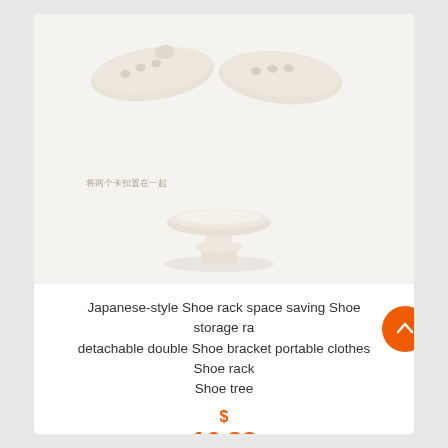[Figure (photo): Product photo showing two white ceramic shoe bracket pieces (top) and a white ceramic shoe rack base/stand (bottom) on a light beige background, with Chinese text annotation reading 将两个卡扣置在一起]
Japanese-style Shoe rack space saving Shoe storage rack detachable double Shoe bracket portable clothes Shoe rack Shoe tree
$ 16.82